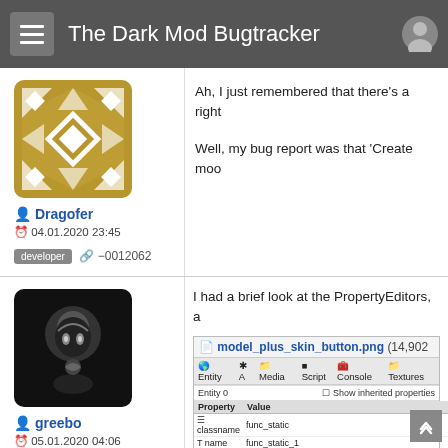The Dark Mod Bugtracker
Dragofer
04.01.2020 23:45
developer  −0012062
Ah, I just remembered that there's a right

Well, my bug report was that 'Create moo
greebo
05.01.2020 04:06
administrator  −0012065
I had a brief look at the PropertyEditors, a
[Figure (screenshot): Screenshot showing model_plus_skin_button.png (14,902 ...) with a property editor panel showing Entity 0 with properties: classname func_static, name func_static_1, model models/darkmod/furniture/beds/builder_bed01.lwo, origin 0' 34 41, rotation 1 0 0 0 1 0 0 0 1, skin beds/builder coarse]